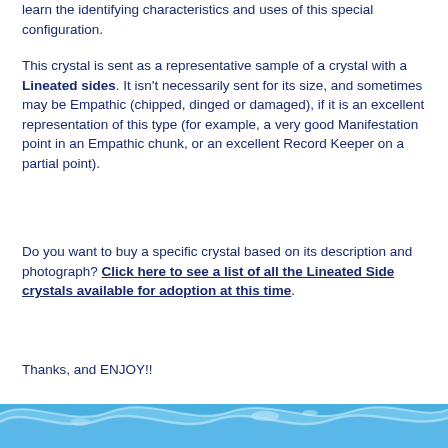learn the identifying characteristics and uses of this special configuration.
This crystal is sent as a representative sample of a crystal with a Lineated sides. It isn't necessarily sent for its size, and sometimes may be Empathic (chipped, dinged or damaged), if it is an excellent representation of this type (for example, a very good Manifestation point in an Empathic chunk, or an excellent Record Keeper on a partial point).
Do you want to buy a specific crystal based on its description and photograph? Click here to see a list of all the Lineated Side crystals available for adoption at this time.
Thanks, and ENJOY!!
[Figure (illustration): Wave decoration at the bottom of the page — blue wavy water illustration]